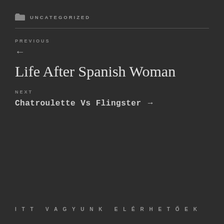UNCATEGORIZED
PREVIOUS
Life After Spanish Woman
NEXT
Chatroulette Vs Flingster →
ITT VAGYUNK ELÉRHETŐEK